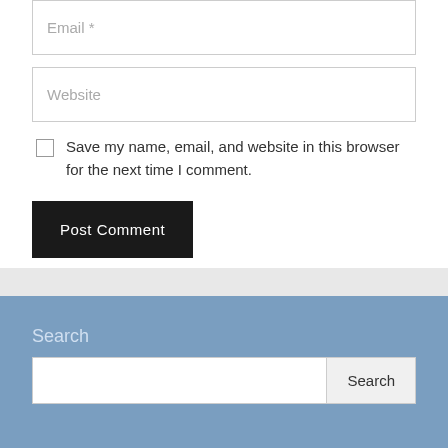[Figure (screenshot): Email input field with placeholder text 'Email *']
[Figure (screenshot): Website input field with placeholder text 'Website']
Save my name, email, and website in this browser for the next time I comment.
Post Comment
Search
[Figure (screenshot): Search input field with Search button]